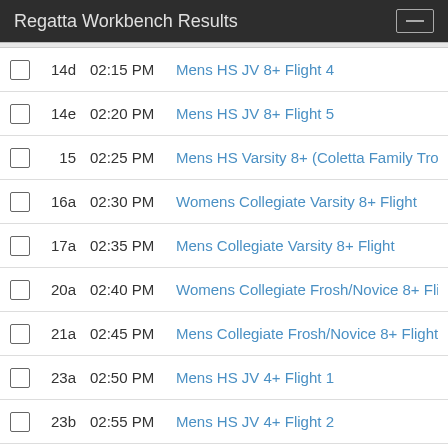Regatta Workbench Results
14d  02:15 PM  Mens HS JV 8+ Flight 4
14e  02:20 PM  Mens HS JV 8+ Flight 5
15  02:25 PM  Mens HS Varsity 8+ (Coletta Family Trop
16a  02:30 PM  Womens Collegiate Varsity 8+ Flight
17a  02:35 PM  Mens Collegiate Varsity 8+ Flight
20a  02:40 PM  Womens Collegiate Frosh/Novice 8+ Flig
21a  02:45 PM  Mens Collegiate Frosh/Novice 8+ Flight
23a  02:50 PM  Mens HS JV 4+ Flight 1
23b  02:55 PM  Mens HS JV 4+ Flight 2
23c  03:00 PM  Mens HS JV 4+ Flight 3